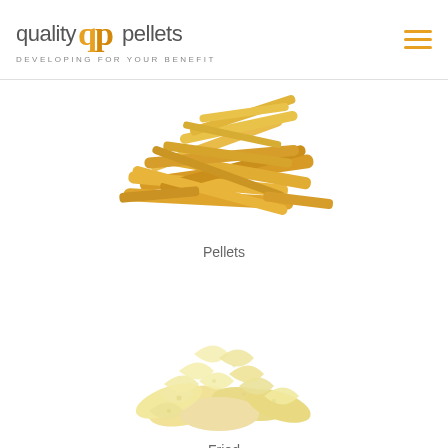[Figure (logo): Quality Pellets logo with orange 'qp' icon and tagline 'DEVELOPING FOR YOUR BENEFIT']
[Figure (photo): Pile of golden/orange flat stick-shaped pellet snacks]
Pellets
[Figure (photo): Pile of light yellow/cream curved fried puffed snacks (like prawn crackers)]
Fried
We use cookies on our website to give you the most relevant experience by remembering your preferences and repeat